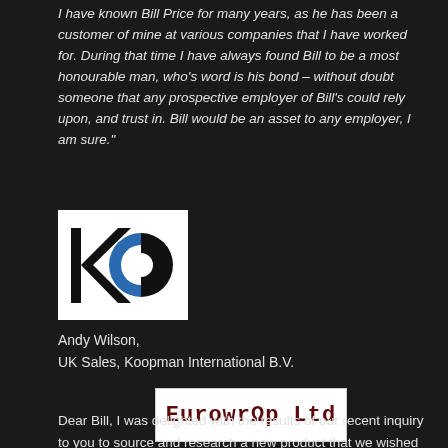I have known Bill Price for many years, as he has been a customer of mine at various companies that I have worked for. During that time I have always found Bill to be a most honourable man, who's word is his bond – without doubt someone that any prospective employer of Bill's could rely upon, and trust in. Bill would be an asset to any employer, I am sure."
[Figure (logo): Koopman International B.V. logo — letter K with a blue circle forming the letter O, on white background]
Andy Wilson,
UK Sales, Koopman International B.V.
[Figure (logo): Eurowrap Ltd logo — handwritten style text in dark red/maroon on white background]
Dear Bill, I was delighted with the results of our recent inquiry to you to source and research a new product that we wished to introduce